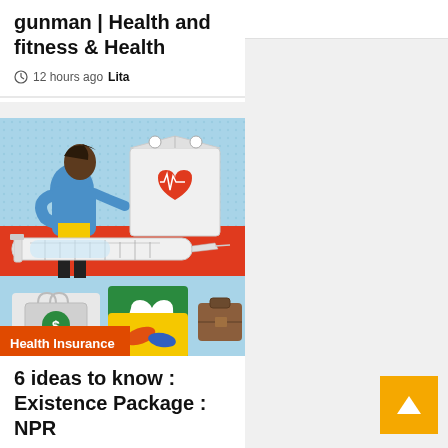gunman | Health and fitness & Health
12 hours ago  Lita
[Figure (illustration): Health insurance themed illustration showing a person stacking blocks/cubes with medical icons: a heart with ECG line, a syringe, a tooth, pills, a dollar sign, and a briefcase. Light blue background with colorful blocks in red, yellow, green. A label reads Health Insurance at the bottom.]
Health Insurance
6 ideas to know : Existence Package : NPR
12 hours ago  Lita